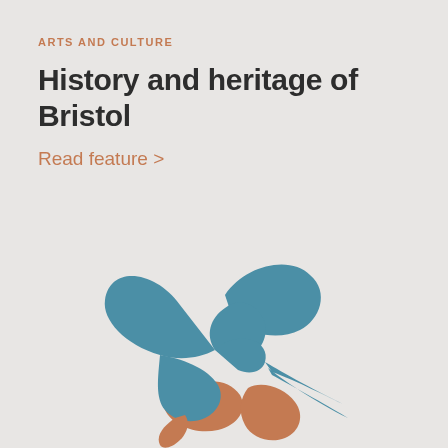ARTS AND CULTURE
History and heritage of Bristol
Read feature >
[Figure (logo): Stylized hummingbird logo in teal/blue and terracotta/orange colors, with spread wings and a long pointed beak, on a light grey background.]